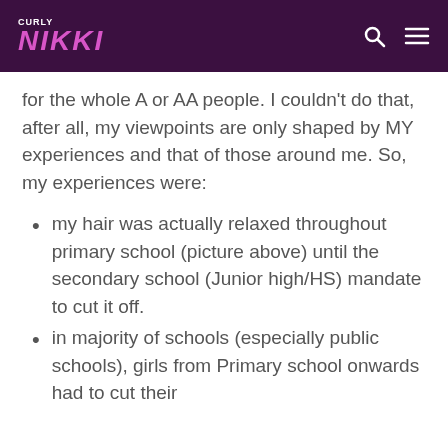CURLY NIKKI
for the whole A or AA people. I couldn't do that, after all, my viewpoints are only shaped by MY experiences and that of those around me. So, my experiences were:
my hair was actually relaxed throughout primary school (picture above) until the secondary school (Junior high/HS) mandate to cut it off.
in majority of schools (especially public schools), girls from Primary school onwards had to cut their